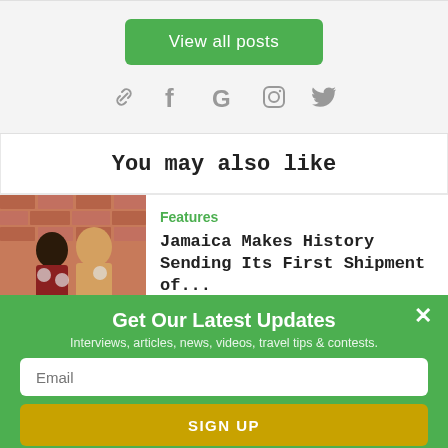View all posts
[Figure (other): Social media icons: link, Facebook, Google, Instagram, Twitter]
You may also like
[Figure (photo): Two people holding items in front of a brick wall]
Features
Jamaica Makes History Sending Its First Shipment of...
Get Our Latest Updates
Interviews, articles, news, videos, travel tips & contests.
Email
SIGN UP